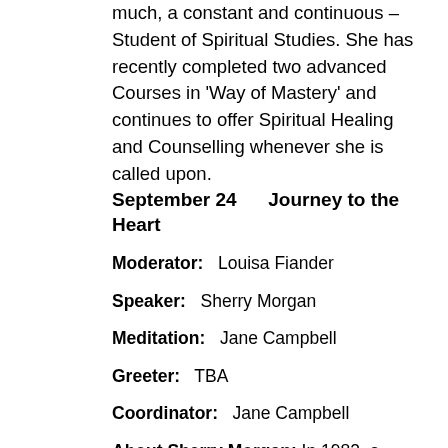much, a constant and continuous – Student of Spiritual Studies. She has recently completed two advanced Courses in 'Way of Mastery' and continues to offer Spiritual Healing and Counselling whenever she is called upon.
September 24    Journey to the Heart
Moderator:   Louisa Fiander
Speaker:   Sherry Morgan
Meditation:  Jane Campbell
Greeter:  TBA
Coordinator:   Jane Campbell
About Sherry Morgan: In 1982, a special